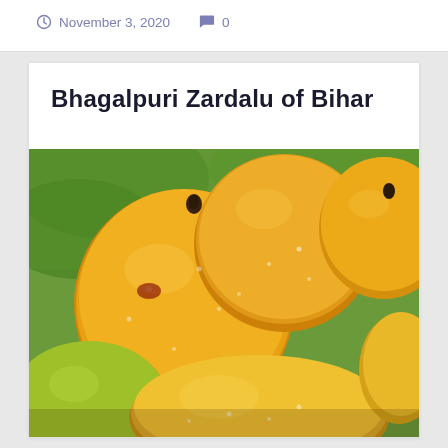November 3, 2020   0
Bhagalpuri Zardalu of Bihar
[Figure (photo): Close-up photograph of several ripe Zardalu mangoes from Bhagalpur, Bihar. The mangoes are yellow-green in color with water droplets on the surface, clustered together against a green leafy background.]